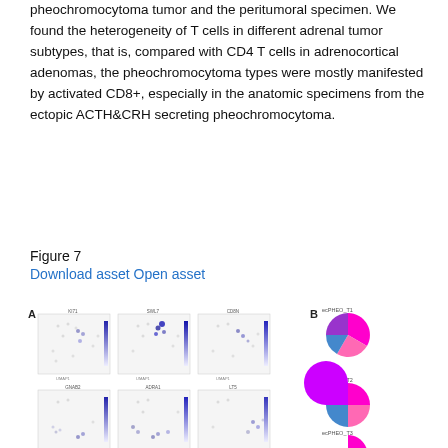pheochromocytoma tumor and the peritumoral specimen. We found the heterogeneity of T cells in different adrenal tumor subtypes, that is, compared with CD4 T cells in adrenocortical adenomas, the pheochromocytoma types were mostly manifested by activated CD8+, especially in the anatomic specimens from the ectopic ACTH&CRH secreting pheochromocytoma.
Figure 7
Download asset Open asset
[Figure (other): Panel A: Six UMAP scatter plots showing gene expression patterns (KI71, SWL7, CD8N, GNAB2, ADRA1, LT5) in cells. Panel B: Three pie charts labeled ecPHEO_T1, ecPHEO_T2, ecPHEO_T3 showing cell type proportions in magenta, pink, blue, and purple colors.]